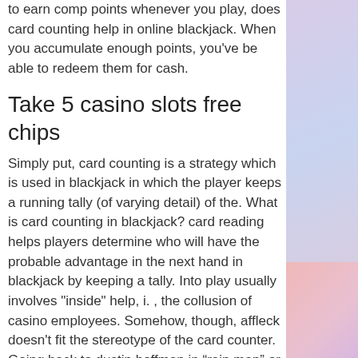to earn comp points whenever you play, does card counting help in online blackjack. When you accumulate enough points, you've be able to redeem them for cash.
Take 5 casino slots free chips
Simply put, card counting is a strategy which is used in blackjack in which the player keeps a running tally (of varying detail) of the. What is card counting in blackjack? card reading helps players determine who will have the probable advantage in the next hand in blackjack by keeping a tally. Into play usually involves &quot;inside&quot; help, i. , the collusion of casino employees. Somehow, though, affleck doesn't fit the stereotype of the card counter. Going back to dustin hoffman in "rain man" or sensationalized tales of. Online casinos give people the privacy they need to count cards